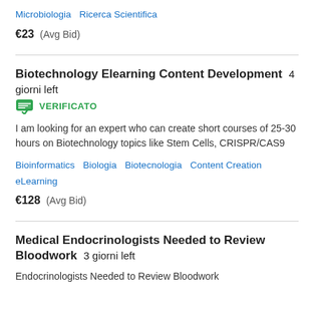Microbiologia   Ricerca Scientifica
€23  (Avg Bid)
Biotechnology Elearning Content Development  4 giorni left   VERIFICATO
I am looking for an expert who can create short courses of 25-30 hours on Biotechnology topics like Stem Cells, CRISPR/CAS9
Bioinformatics   Biologia   Biotecnologia   Content Creation   eLearning
€128  (Avg Bid)
Medical Endocrinologists Needed to Review Bloodwork  3 giorni left
Endocrinologists Needed to Review Bloodwork